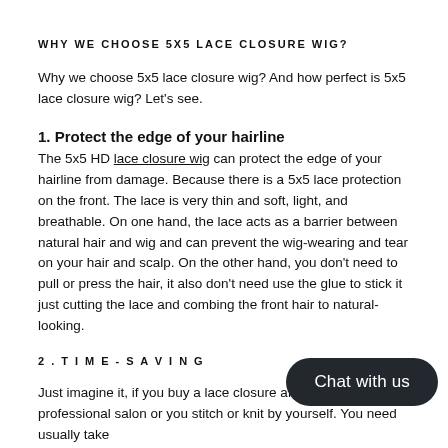WHY WE CHOOSE 5X5 LACE CLOSURE WIG?
Why we choose 5x5 lace closure wig? And how perfect is 5x5 lace closure wig? Let's see.
1. Protect the edge of your hairline
The 5x5 HD lace closure wig can protect the edge of your hairline from damage. Because there is a 5x5 lace protection on the front. The lace is very thin and soft, light, and breathable. On one hand, the lace acts as a barrier between natural hair and wig and can prevent the wig-wearing and tear on your hair and scalp. On the other hand, you don't need to pull or press the hair, it also don't need use the glue to stick it just cutting the lace and combing the front hair to natural-looking.
2. TIME-SAVING
Just imagine it, if you buy a lace closure and bundles, you need to go a professional salon or you stitch or knit by yourself. You need usually take ...